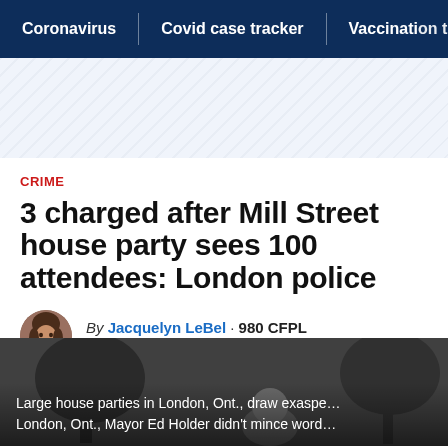Coronavirus | Covid case tracker | Vaccination t
CRIME
3 charged after Mill Street house party sees 100 attendees: London police
By Jacquelyn LeBel · 980 CFPL
Posted November 16, 2020 12:57 pm
Large house parties in London, Ont., draw exaspe…
London, Ont., Mayor Ed Holder didn't mince word…